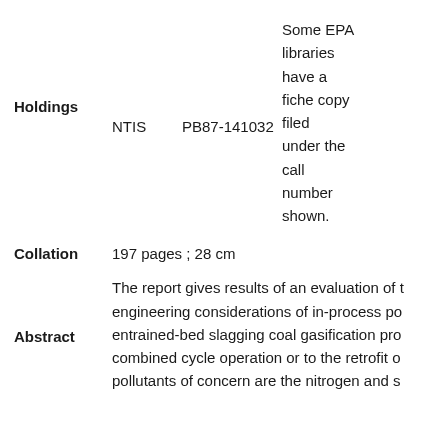Holdings   NTIS   PB87-141032   Some EPA libraries have a fiche copy filed under the call number shown.
Collation   197 pages ; 28 cm
Abstract   The report gives results of an evaluation of t engineering considerations of in-process po entrained-bed slagging coal gasification pro combined cycle operation or to the retrofit o pollutants of concern are the nitrogen and s